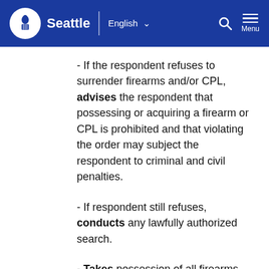Seattle | English  [Search] [Menu]
- If the respondent refuses to surrender firearms and/or CPL, advises the respondent that possessing or acquiring a firearm or CPL is prohibited and that violating the order may subject the respondent to criminal and civil penalties.
- If respondent still refuses, conducts any lawfully authorized search.
- Takes possession of all firearms belonging to the respondent